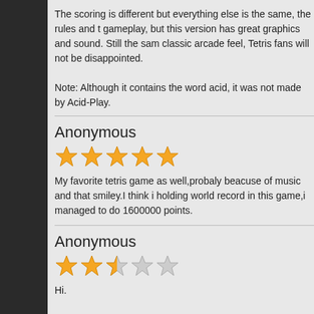The scoring is different but everything else is the same, the rules and the gameplay, but this version has great graphics and sound. Still the same classic arcade feel, Tetris fans will not be disappointed.

Note: Although it contains the word acid, it was not made by Acid-Play.
Anonymous
[Figure (other): 5 out of 5 stars rating (all orange stars)]
My favorite tetris game as well,probaly beacuse of music and that smiley.I think i holding world record in this game,i managed to do 1600000 points.
Anonymous
[Figure (other): 2.5 out of 5 stars rating (2 full orange, 1 half orange, 2 grey stars)]
Hi.

This game is very, very funny and the graphics and sound is spetacula love this game.
cakruger